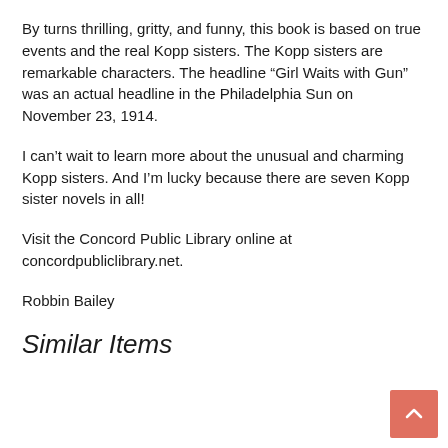By turns thrilling, gritty, and funny, this book is based on true events and the real Kopp sisters. The Kopp sisters are remarkable characters. The headline “Girl Waits with Gun” was an actual headline in the Philadelphia Sun on November 23, 1914.
I can’t wait to learn more about the unusual and charming Kopp sisters. And I’m lucky because there are seven Kopp sister novels in all!
Visit the Concord Public Library online at concordpubliclibrary.net.
Robbin Bailey
Similar Items